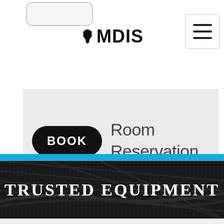[Figure (logo): MDIS logo with Michigan state shape silhouette and bold text MDIS]
[Figure (screenshot): Room Reservation Signs banner with black BOOK button icon and cursor hand pointer on gray background]
Trusted Equipment
[Figure (photo): Dark textured background with cables and equipment]